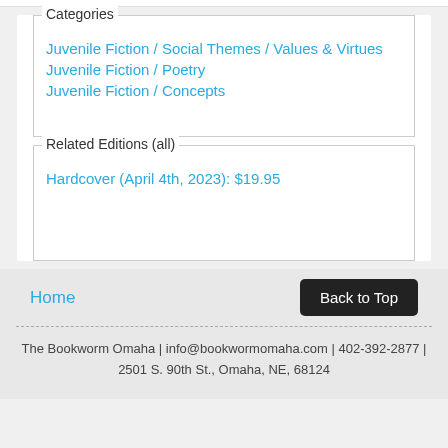Categories
Juvenile Fiction / Social Themes / Values & Virtues
Juvenile Fiction / Poetry
Juvenile Fiction / Concepts
Related Editions (all)
Hardcover (April 4th, 2023): $19.95
Home
Back to Top
The Bookworm Omaha | info@bookwormomaha.com | 402-392-2877 | 2501 S. 90th St., Omaha, NE, 68124